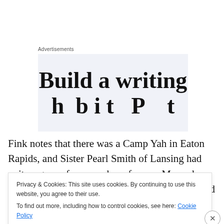Advertisements
[Figure (other): Advertisement banner showing 'Build a writing' text on a light blue/grey background, partially cut off]
Fink notes that there was a Camp Yah in Eaton Rapids, and Sister Pearl Smith of Lansing had quite a group for a number of years. Mr. and Mrs. Parry, Sister Bertha O. Sayman and Richard Francis are of the Holt group.
Privacy & Cookies: This site uses cookies. By continuing to use this website, you agree to their use.
To find out more, including how to control cookies, see here: Cookie Policy